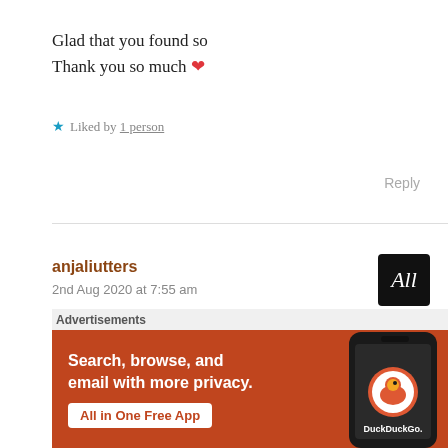Glad that you found so
Thank you so much ❤
★ Liked by 1 person
Reply
anjaliutters
2nd Aug 2020 at 7:55 am
[Figure (illustration): Dark circular avatar with cursive white text 'All']
You're welcome 😊
[Figure (infographic): DuckDuckGo advertisement banner: 'Search, browse, and email with more privacy. All in One Free App' on orange/red background with phone graphic showing DuckDuckGo logo]